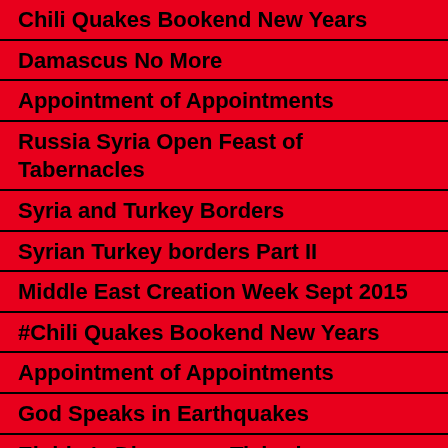Chili Quakes Bookend New Years
Damascus No More
Appointment of Appointments
Russia Syria Open Feast of Tabernacles
Syria and Turkey Borders
Syrian Turkey borders Part II
Middle East Creation Week Sept 2015
#Chili Quakes Bookend New Years
Appointment of Appointments
God Speaks in Earthquakes
Elohim's Discusses Tishrei Earthquakes